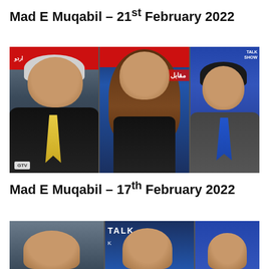Mad E Muqabil – 21st February 2022
[Figure (photo): TV talk show screenshot split into three panels: left panel shows an older man in black suit with yellow tie speaking; center panel shows a woman with long brown hair in black outfit looking upward; right panel shows a man in grey suit with blue tie. Show logo visible in center top area with red banner, GTV channel logo bottom left.]
Mad E Muqabil – 17th February 2022
[Figure (photo): Partial TV talk show screenshot showing top portion of a similar three-panel layout with talk show branding visible including text appearing to say 'TALK' in blue area.]